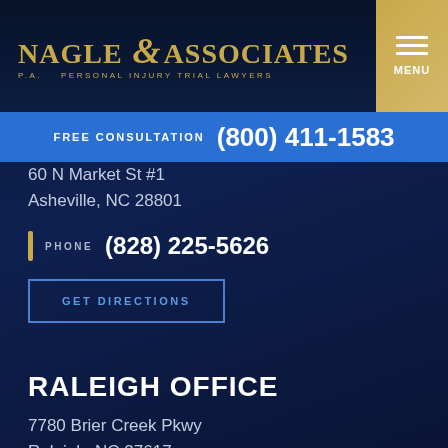[Figure (logo): Nagle & Associates P.A. Personal Injury Trial Lawyers logo in gold on dark navy background]
FREE CONSULTATION  (800) 411-1583
60 N Market St #1
Asheville, NC 28801
PHONE  (828) 225-5626
GET DIRECTIONS
RALEIGH OFFICE
7780 Brier Creek Pkwy
Raleigh, NC 27617
PHONE  (919) 433-0035